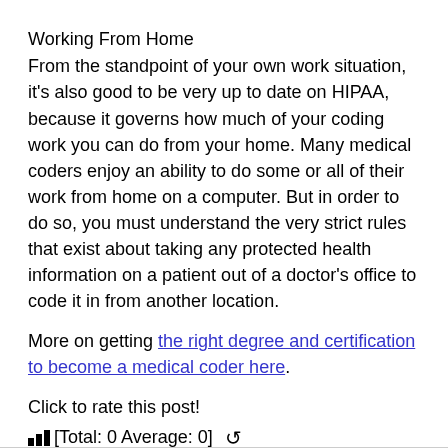Working From Home
From the standpoint of your own work situation, it's also good to be very up to date on HIPAA, because it governs how much of your coding work you can do from your home. Many medical coders enjoy an ability to do some or all of their work from home on a computer. But in order to do so, you must understand the very strict rules that exist about taking any protected health information on a patient out of a doctor's office to code it in from another location.
More on getting the right degree and certification to become a medical coder here.
Click to rate this post!
[Total: 0 Average: 0]